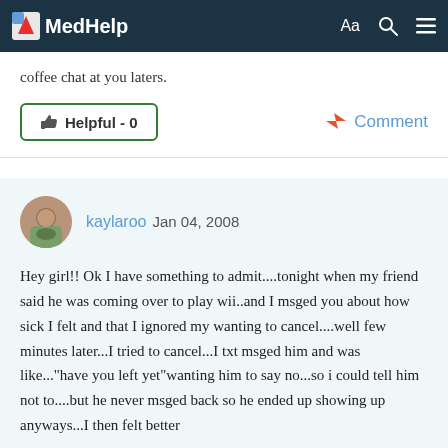MedHelp
coffee chat at you laters.
👍 Helpful - 0
Comment
kaylaroo Jan 04, 2008
Hey girl!! Ok I have something to admit....tonight when my friend said he was coming over to play wii..and I msged you about how sick I felt and that I ignored my wanting to cancel....well few minutes later...I tried to cancel...I txt msged him and was like..."have you left yet"wanting him to say no...so i could tell him not to....but he never msged back so he ended up showing up anyways...I then felt better